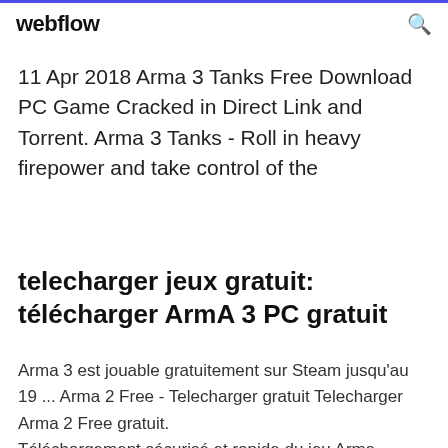webflow
11 Apr 2018 Arma 3 Tanks Free Download PC Game Cracked in Direct Link and Torrent. Arma 3 Tanks - Roll in heavy firepower and take control of the
telecharger jeux gratuit: télécharger ArmA 3 PC gratuit
Arma 3 est jouable gratuitement sur Steam jusqu'au 19 ... Arma 2 Free - Telecharger gratuit Telecharger Arma 2 Free gratuit. Téléchargement sécurisé et rapide du jeu Arma 3 Free GRATUIT. Le logiciel de telecharger …